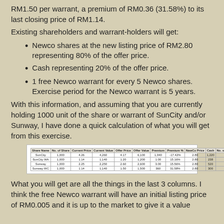RM1.50 per warrant, a premium of RM0.36 (31.58%) to its last closing price of RM1.14.
Existing shareholders and warrant-holders will get:
Newco shares at the new listing price of RM2.80 representing 80% of the offer price.
Cash representing 20% of the offer price.
1 free Newco warrant for every 5 Newco shares. Exercise period for the Newco warrant is 5 years.
With this information, and assuming that you are currently holding 1000 unit of the share or warrant of SunCity and/or Sunway, I have done a quick calculation of what you will get from this exercise.
| Share Name | No. of Share | Current Price | Current Value | Offer Price | Offer Value | Premium | Premium % | NewCo Price | Cash | No. of NewCo Share | No. of NewCo Warrant |
| --- | --- | --- | --- | --- | --- | --- | --- | --- | --- | --- | --- |
| SunCity | 1,000 | 4.26 | 4,260 | 4.17 | 6,100 | 1,040 | -17.42% | 2.80 | 1,220 | 1,827.14 | 357.43 |
| SunCity WA | 1,000 | 1.14 | 1,140 | 1.20 | 1,200 | 1.00 | 15.16% | 2.80 | 238 | 380.54 | 73.14 |
| Sunway | 1,000 | 2.25 | 2,250 | 2.60 | 2,600 | 3.00 | 15.56% | 2.80 | 520 | 742.86 | 148.57 |
| Sunway WC | 1,000 | 1.14 | 1,140 | 1.50 | 1,500 | 360 | 31.58% | 2.80 | 300 | 429.07 | 85.71 |
What you will get are all the things in the last 3 columns. I think the free Newco warrant will have an initial listing price of RM0.005 and it is up to the market to give it a value